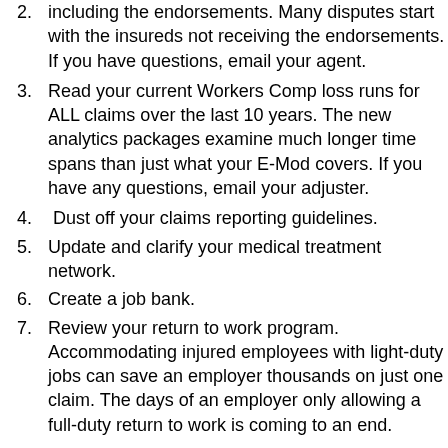including the endorsements.  Many disputes start with the insureds not receiving the endorsements.  If you have questions, email your agent.
Read your current Workers Comp loss runs for ALL claims over the last 10 years.  The new analytics packages examine much longer time spans than just what your E-Mod covers.  If you have any questions, email your adjuster.
Dust off your claims reporting guidelines.
Update and clarify your medical treatment network.
Create a job bank.
Review your return to work program.  Accommodating injured employees with light-duty jobs can save an employer thousands on just one claim.  The days of an employer only allowing a full-duty return to work is coming to an end.
Trust of the employer before an accident causes a